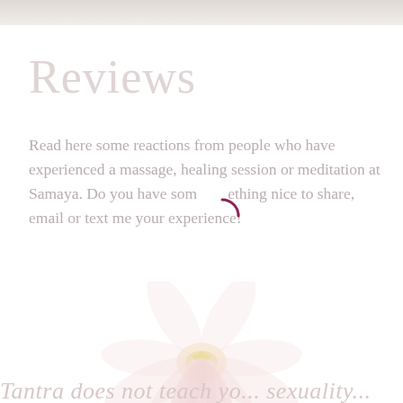[Figure (photo): Top decorative strip with faint gray-beige texture]
Reviews
Read here some reactions from people who have experienced a massage, healing session or meditation at Samaya. Do you have something nice to share, email or text me your experience!
[Figure (illustration): A faint pink lotus flower illustration centered on the lower portion of the page]
Tantra does not teach yo...sexuality...